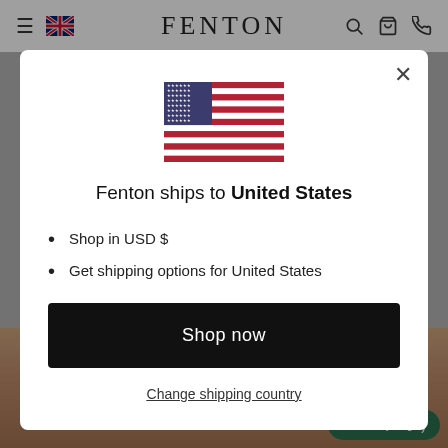FENTON
[Figure (screenshot): A modal dialog on the Fenton website showing a US flag, shipping information for United States, shop now button, and change shipping country link. Background shows a greyed-out navigation bar and a woman's photo.]
Fenton ships to United States
Shop in USD $
Get shipping options for United States
Shop now
Change shipping country